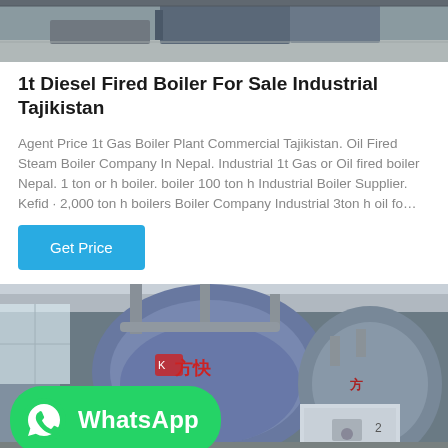[Figure (photo): Top partial photo of industrial boiler equipment, partially visible at the top of the page]
1t Diesel Fired Boiler For Sale Industrial Tajikistan
Agent Price 1t Gas Boiler Plant Commercial Tajikistan. Oil Fired Steam Boiler Company In Nepal. Industrial 1t Gas or Oil fired boiler Nepal. 1 ton or h boiler. boiler 100 ton h Industrial Boiler Supplier. Kefid · 2,000 ton h boilers Boiler Company Industrial 3ton h oil fo…
Get Price
[Figure (photo): Industrial boiler facility with large blue cylindrical boilers showing Chinese characters, pipes, and equipment inside a warehouse. WhatsApp badge overlaid in bottom-left corner.]